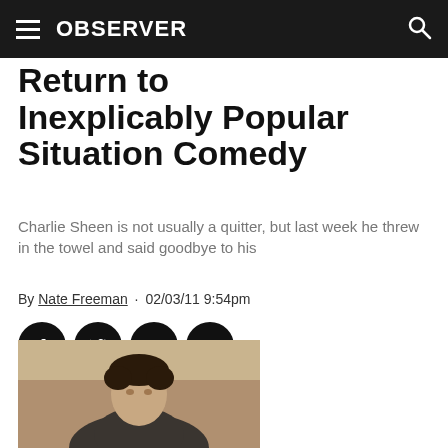OBSERVER
Return to Inexplicably Popular Situation Comedy
Charlie Sheen is not usually a quitter, but last week he threw in the towel and said goodbye to his
By Nate Freeman · 02/03/11 9:54pm
[Figure (other): Social share icons: Facebook, Twitter, LinkedIn, Email]
[Figure (photo): Photo of a man (Charlie Sheen) from the chest up, partially cropped at bottom of page]